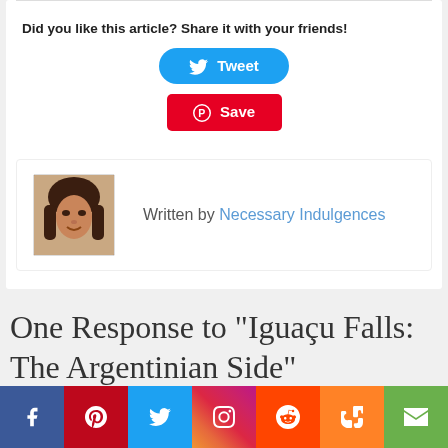Did you like this article? Share it with your friends!
[Figure (screenshot): Tweet button - blue rounded rectangle with Twitter bird icon and text 'Tweet']
[Figure (screenshot): Save button - red rectangle with Pinterest circle icon and text 'Save']
[Figure (photo): Author profile photo - woman with dark hair]
Written by Necessary Indulgences
One Response to "Iguaçu Falls: The Argentinian Side"
[Figure (infographic): Social media share bar with Facebook, Pinterest, Twitter, Instagram, Reddit, Mix, and Email icons]